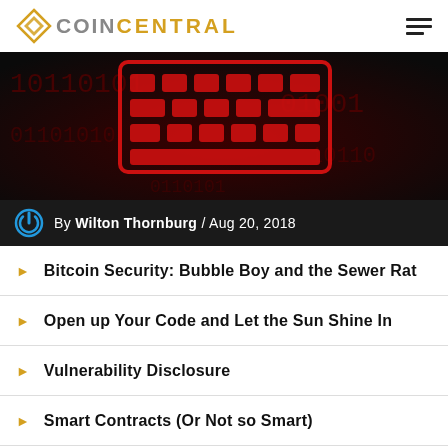COIN CENTRAL
[Figure (photo): Dark background with a red glowing grid/keyboard overlay and binary-like numbers, suggesting cybersecurity theme]
By Wilton Thornburg / Aug 20, 2018
Bitcoin Security: Bubble Boy and the Sewer Rat
Open up Your Code and Let the Sun Shine In
Vulnerability Disclosure
Smart Contracts (Or Not so Smart)
Throw It Against the Wallet and See If It Sticks